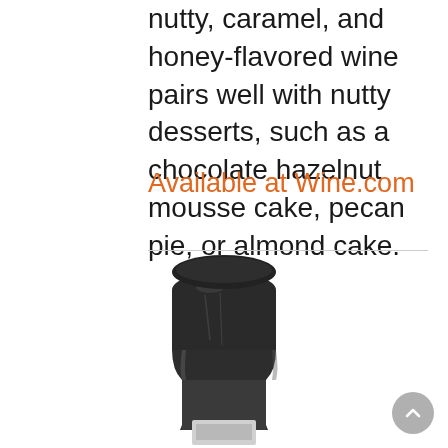nutty, caramel, and honey-flavored wine pairs well with nutty desserts, such as a chocolate hazelnut mousse cake, pecan pie, or almond cake.
Available at Wine.com
[Figure (photo): Top portion of a wine bottle with a dark green/black capsule and the neck of the bottle visible, with a partial label at the bottom.]